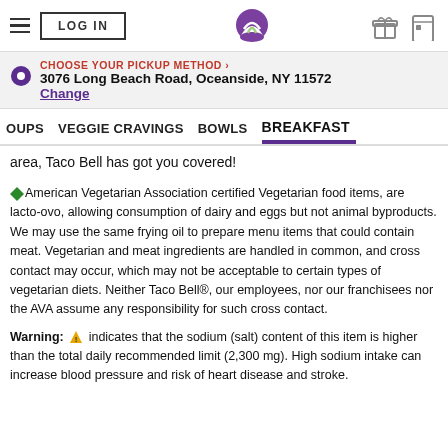LOG IN | Taco Bell | [hamburger menu] [gift icon] [card icon]
CHOOSE YOUR PICKUP METHOD › 3076 Long Beach Road, Oceanside, NY 11572 Change
OUPS   VEGGIE CRAVINGS   BOWLS   BREAKFAST
area, Taco Bell has got you covered!
◆American Vegetarian Association certified Vegetarian food items, are lacto-ovo, allowing consumption of dairy and eggs but not animal byproducts. We may use the same frying oil to prepare menu items that could contain meat. Vegetarian and meat ingredients are handled in common, and cross contact may occur, which may not be acceptable to certain types of vegetarian diets. Neither Taco Bell®, our employees, nor our franchisees nor the AVA assume any responsibility for such cross contact.
Warning: ⚠ indicates that the sodium (salt) content of this item is higher than the total daily recommended limit (2,300 mg). High sodium intake can increase blood pressure and risk of heart disease and stroke.